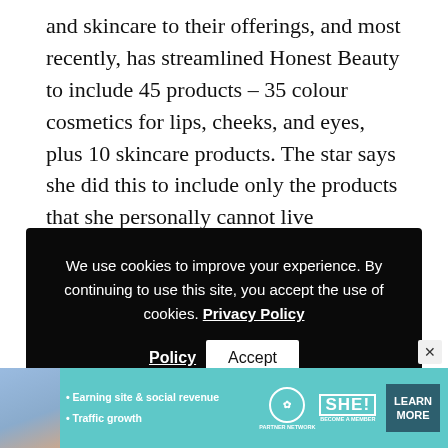and skincare to their offerings, and most recently, has streamlined Honest Beauty to include 45 products – 35 colour cosmetics for lips, cheeks, and eyes, plus 10 skincare products. The star says she did this to include only the products that she personally cannot live
[Figure (screenshot): Cookie consent banner with dark background. Text reads: 'We use cookies to improve your experience. By continuing to use this site, you accept the use of cookies. Privacy Policy' with an Accept button.]
unlike those above, this one is clean – that is to say, no nasty chemicals are used.
[Figure (photo): Partial view of a person's face/head at the bottom of the page with a numbered circle indicator showing '1']
[Figure (screenshot): Advertisement banner for SHE PARTNER NETWORK with teal background. Shows a woman photo, bullet points 'Earning site & social revenue' and 'Traffic growth', SHE logo, and LEARN MORE button. Has an X close button.]